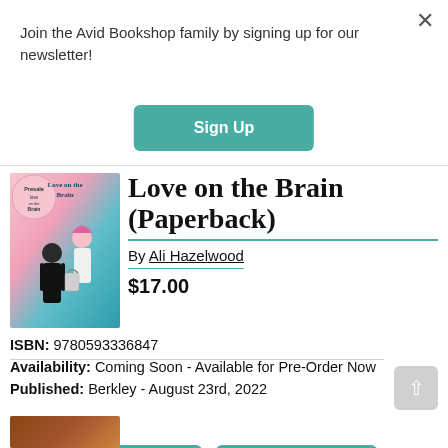Join the Avid Bookshop family by signing up for our newsletter!
Sign Up
[Figure (illustration): Book cover for Love on the Brain by Ali Hazelwood — pink and teal illustration of two figures, a boy and a girl with pink hair]
Love on the Brain (Paperback)
By Ali Hazelwood
$17.00
ISBN: 9780593336847
Availability: Coming Soon - Available for Pre-Order Now
Published: Berkley - August 23rd, 2022
add to cart
add to wish list